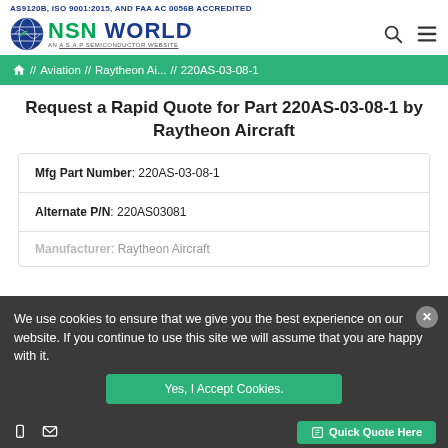AS9120B, ISO 9001:2015, AND FAA AC 0056B ACCREDITED
[Figure (logo): NSN WORLD logo with globe icon and ASAP Semiconductor website text]
// Aviation // Raytheon Ai... // 220AS-03-08-1
Request a Rapid Quote for Part 220AS-03-08-1 by Raytheon Aircraft
Mfg Part Number: 220AS-03-08-1
Alternate P/N: 220AS03081
Manufacturer: Raytheon Aircraft
We use cookies to ensure that we give you the best experience on our website. If you continue to use this site we will assume that you are happy with it.
Yes, I Accept Cookies.
Quick Quote Here